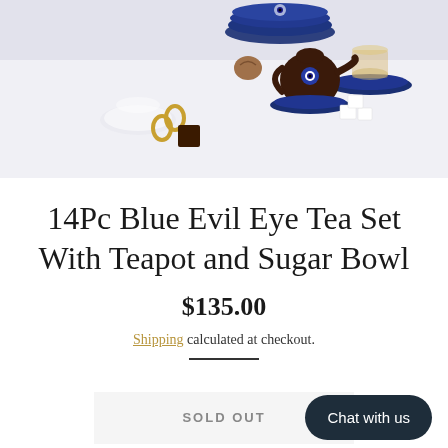[Figure (photo): Product photo of a 14-piece blue evil eye tea set with teapot and sugar bowl. Shows glass teacup tipped on its side, blue plates stacked in background, dark teapot with evil eye motif on a blue saucer, gold rings, a chocolate square, a walnut, and sugar cubes on a white/lavender surface.]
14Pc Blue Evil Eye Tea Set With Teapot and Sugar Bowl
$135.00
Shipping calculated at checkout.
SOLD OUT
Chat with us